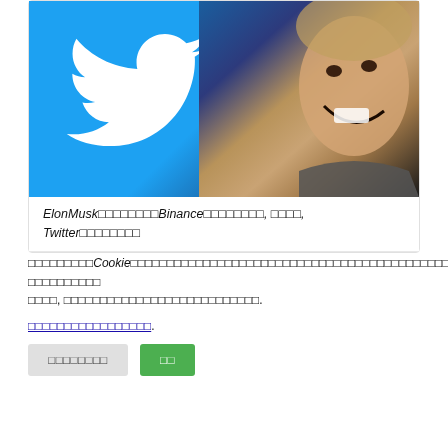[Figure (photo): Photo composite showing Twitter blue bird logo on the left against a bright blue background, and Elon Musk laughing on the right against a dark blue background.]
ElonMusk□□□□□□□□□Binance□□□□□□□□, □□□□, Twitter□□□□□□□□
□□□□□□□□□□Cookie□□□□□□□□□□□□□□□□□□□□□□□□□□□□□□□□□□□□□□□□□□□□□□□. □□□□□□□□□□□□, □□□□□□□□□□□□□□□□□□□□□□□□□□□□□□□□□□□□□□□□□□□□□□□.
□□□□□□□□□□□□□□□□□.